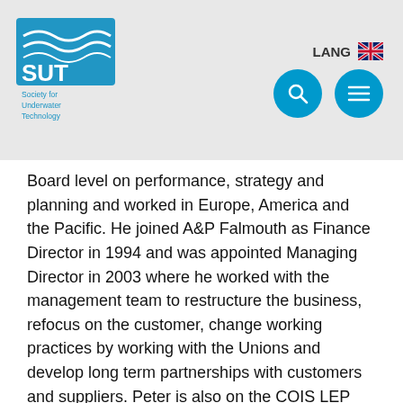LANG [UK flag] [search icon] [menu icon]
Board level on performance, strategy and planning and worked in Europe, America and the Pacific. He joined A&P Falmouth as Finance Director in 1994 and was appointed Managing Director in 2003 where he worked with the management team to restructure the business, refocus on the customer, change working practices by working with the Unions and develop long term partnerships with customers and suppliers. Peter is also on the COIS LEP Employment and Skills Board, a Director of Cornwall Marine Network and became a Cornwall College Governor in 2012 and is currently Vice Chair on the Board.
Married to Heather, they have three children, twin girls Brittany who works in Marketing and Nicola, a Physiotherapist and son Tom who...